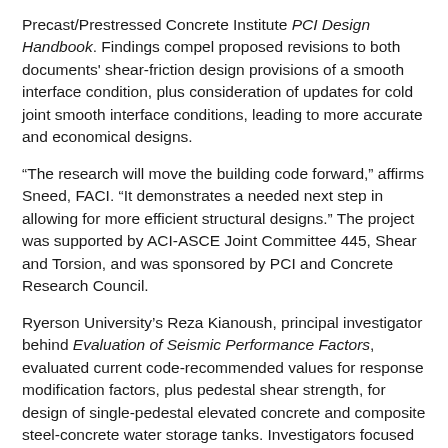Precast/Prestressed Concrete Institute PCI Design Handbook. Findings compel proposed revisions to both documents' shear-friction design provisions of a smooth interface condition, plus consideration of updates for cold joint smooth interface conditions, leading to more accurate and economical designs.
“The research will move the building code forward,” affirms Sneed, FACI. “It demonstrates a needed next step in allowing for more efficient structural designs.” The project was supported by ACI-ASCE Joint Committee 445, Shear and Torsion, and was sponsored by PCI and Concrete Research Council.
Ryerson University’s Reza Kianoush, principal investigator behind Evaluation of Seismic Performance Factors, evaluated current code-recommended values for response modification factors, plus pedestal shear strength, for design of single-pedestal elevated concrete and composite steel-concrete water storage tanks. Investigators focused on two distinct research goals: the ACI 371E-08 equation for nominal shear strength of